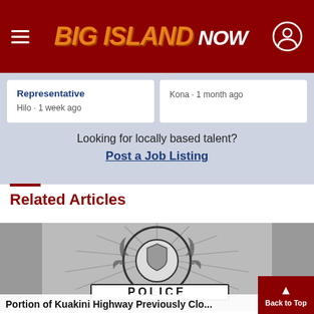Big Island Now
Representative
Hilo · 1 week ago
Kona · 1 month ago
Looking for locally based talent?
Post a Job Listing
Related Articles
[Figure (photo): Black and white police badge logo]
Portion of Kuakini Highway Previously Clo...